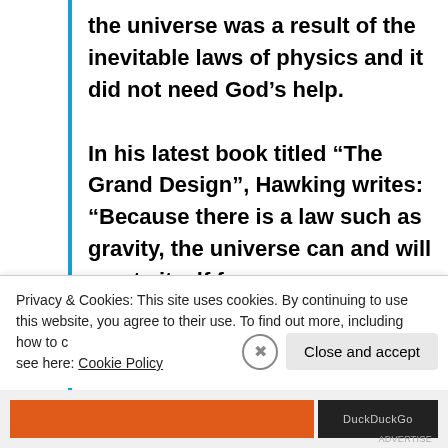the universe was a result of the inevitable laws of physics and it did not need God's help.

In his latest book titled “The Grand Design”, Hawking writes: “Because there is a law such as gravity, the universe can and will create itself from nothing. Spontaneous creation is the
Privacy & Cookies: This site uses cookies. By continuing to use this website, you agree to their use. To find out more, including how to control cookies, see here: Cookie Policy